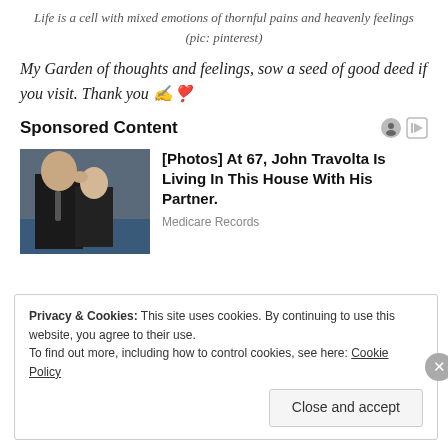Life is a cell with mixed emotions of thornful pains and heavenly feelings (pic: pinterest)
My Garden of thoughts and feelings, sow a seed of good deed if you visit. Thank you ✍️❣️
Sponsored Content
[Figure (photo): Two men in suits, one kissing the other on the cheek]
[Photos] At 67, John Travolta Is Living In This House With His Partner.
Medicare Records
Privacy & Cookies: This site uses cookies. By continuing to use this website, you agree to their use.
To find out more, including how to control cookies, see here: Cookie Policy
Close and accept